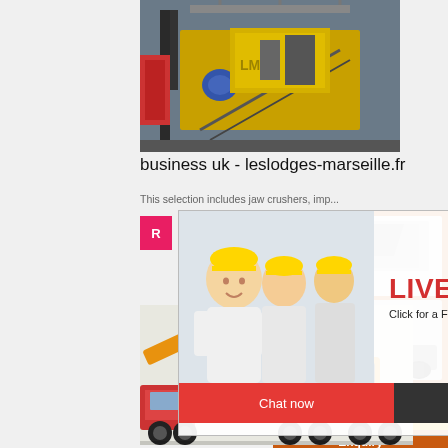[Figure (photo): Industrial crusher/mining equipment machinery on site]
business uk - leslodges-marseille.fr
This selection includes jaw crushers, imp...
[Figure (photo): Live Chat popup overlay with people in hard hats, Chat now / Chat later buttons]
[Figure (photo): Right sidebar with orange background showing crusher machines, Enjoy 3% discount, Click to Chat, Enquiry, limingjlmofen@sina.com]
[Figure (photo): Large yellow mobile crusher machine on flatbed truck]